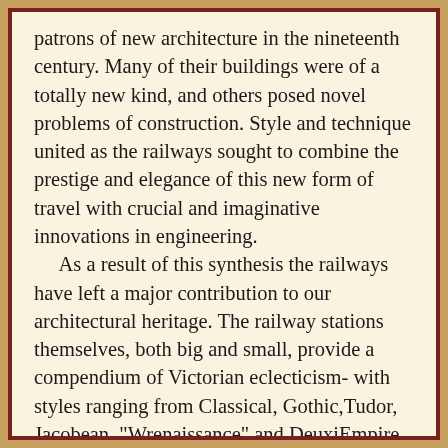patrons of new architecture in the nineteenth century. Many of their buildings were of a totally new kind, and others posed novel problems of construction. Style and technique united as the railways sought to combine the prestige and elegance of this new form of travel with crucial and imaginative innovations in engineering. As a result of this synthesis the railways have left a major contribution to our architectural heritage. The railway stations themselves, both big and small, provide a compendium of Victorian eclecticism- with styles ranging from Classical, Gothic,Tudor, Jacobean, "Wrenaissance" and DeuxiEmpire to cottage and vernacular revival. But the glories of railway architecture do not stop at stations. Engine sheds, bridges, viaducts and the towns and villages built by the companies all show the same attention to detail, the same combination of functional and aesthetic, and often the same exuberance as their